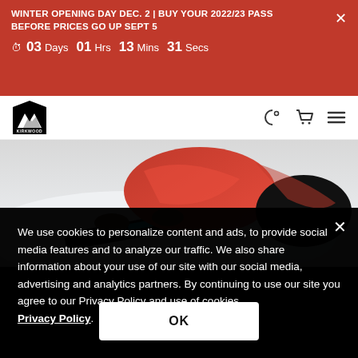WINTER OPENING DAY DEC. 2 | BUY YOUR 2022/23 PASS BEFORE PRICES GO UP SEPT 5
⏱ 03 Days 01 Hrs 13 Mins 31 Secs
[Figure (logo): Kirkwood mountain logo in black pentagon shape]
[Figure (screenshot): Navigation bar icons: moon/settings icon, shopping cart icon, hamburger menu icon]
[Figure (photo): Snowboarder in red jacket carving through snow, close-up action shot]
We use cookies to personalize content and ads, to provide social media features and to analyze our traffic. We also share information about your use of our site with our social media, advertising and analytics partners. By continuing to use our site you agree to our Privacy Policy and use of cookies. Privacy Policy.
OK